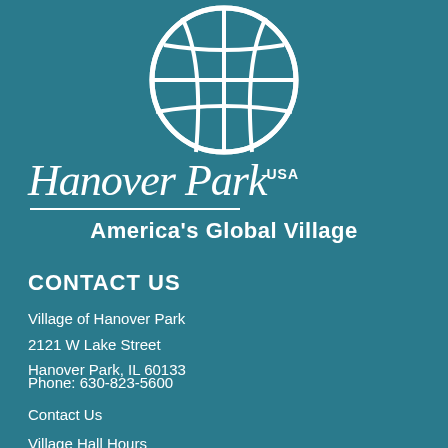[Figure (logo): Globe logo with grid lines in white on teal background]
Hanover Park USA
America's Global Village
CONTACT US
Village of Hanover Park
2121 W Lake Street
Hanover Park, IL 60133
Phone: 630-823-5600
Contact Us
Village Hall Hours